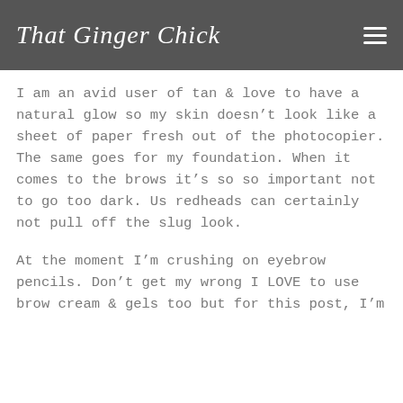That Ginger Chick
I am an avid user of tan & love to have a natural glow so my skin doesn't look like a sheet of paper fresh out of the photocopier. The same goes for my foundation. When it comes to the brows it's so so important not to go too dark. Us redheads can certainly not pull off the slug look.
At the moment I'm crushing on eyebrow pencils. Don't get my wrong I LOVE to use brow cream & gels too but for this post, I'm